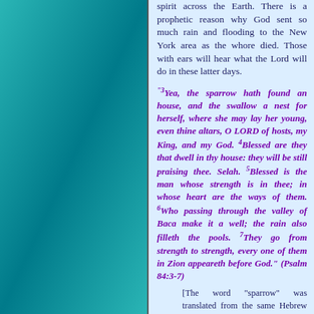spirit across the Earth. There is a prophetic reason why God sent so much rain and flooding to the New York area as the whore died. Those with ears will hear what the Lord will do in these latter days.
"3Yea, the sparrow hath found an house, and the swallow a nest for herself, where she may lay her young, even thine altars, O LORD of hosts, my King, and my God. 4Blessed are they that dwell in thy house: they will be still praising thee. Selah. 5Blessed is the man whose strength is in thee; in whose heart are the ways of them. 6Who passing through the valley of Baca make it a well; the rain also filleth the pools. 7They go from strength to strength, every one of them in Zion appeareth before God." (Psalm 84:3-7)
[The word "sparrow" was translated from the same Hebrew word tsippowr that is translated as "bird" in Proverbs 26:2. The word "Baca" in verse 6 literally means "weeping" in Hebrew.]